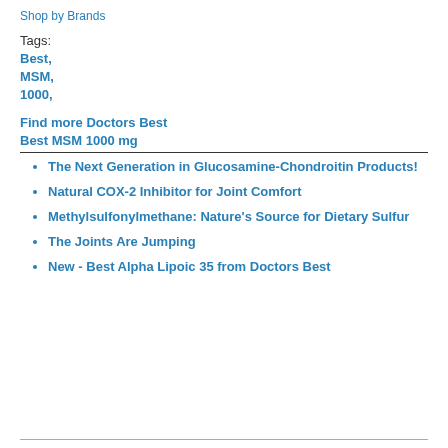Shop by Brands
Tags:
Best,
MSM,
1000,
Find more Doctors Best Best MSM 1000 mg
The Next Generation in Glucosamine-Chondroitin Products!
Natural COX-2 Inhibitor for Joint Comfort
Methylsulfonylmethane: Nature's Source for Dietary Sulfur
The Joints Are Jumping
New - Best Alpha Lipoic 35 from Doctors Best